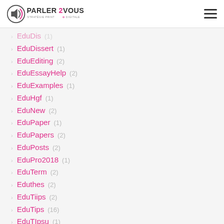PARLER2VOUS STRATÉGIE PRINT & DIGITALE
EduDis (1)
EduDissert (1)
EduEditing (2)
EduEssayHelp (2)
EduExamples (1)
EduHgf (1)
EduNew (2)
EduPaper (1)
EduPapers (2)
EduPosts (2)
EduPro2018 (1)
EduTerm (2)
Eduthes (2)
EduTiips (2)
EduTips (16)
EduTIpsu (1)
Edutri (1)
EduTrics (20)
EduTricsy (2)
EduTrik (1)